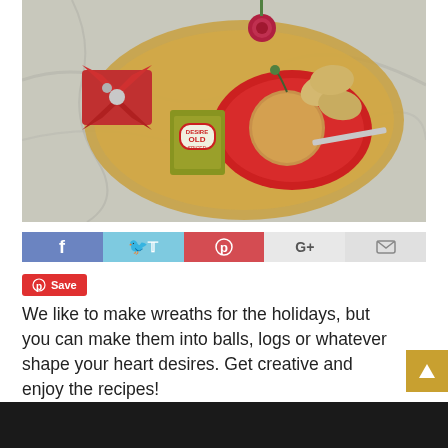[Figure (photo): Holiday food spread on a gold tray: cheese ball with crackers on a red plate, red and gold ribbon bow gift decoration, small book, rose in background, on marble surface]
[Figure (infographic): Social share bar with Facebook (blue), Twitter (light blue), Pinterest (red), Google+ (light gray), Email (gray) buttons]
[Figure (other): Pinterest Save button in red]
We like to make wreaths for the holidays, but you can make them into balls, logs or whatever shape your heart desires. Get creative and enjoy the recipes!